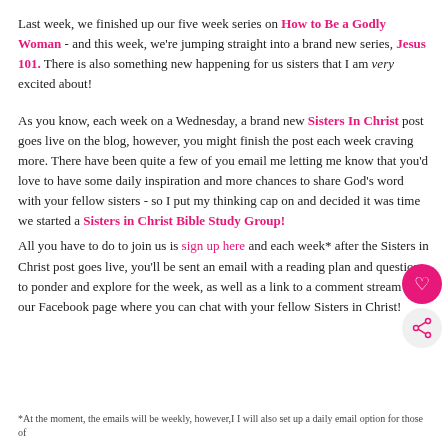Last week, we finished up our five week series on How to Be a Godly Woman - and this week, we're jumping straight into a brand new series, Jesus 101. There is also something new happening for us sisters that I am very excited about!
As you know, each week on a Wednesday, a brand new Sisters In Christ post goes live on the blog, however, you might finish the post each week craving more. There have been quite a few of you email me letting me know that you'd love to have some daily inspiration and more chances to share God's word with your fellow sisters - so I put my thinking cap on and decided it was time we started a Sisters in Christ Bible Study Group!
All you have to do to join us is sign up here and each week* after the Sisters in Christ post goes live, you'll be sent an email with a reading plan and questions to ponder and explore for the week, as well as a link to a comment stream on our Facebook page where you can chat with your fellow Sisters in Christ!
*At the moment, the emails will be weekly, however,I I will also set up a daily email option for those of